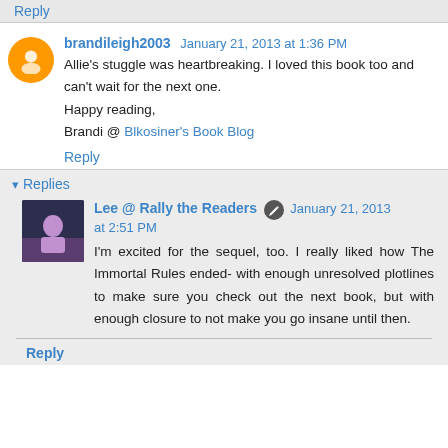Reply
brandileigh2003  January 21, 2013 at 1:36 PM
Allie's stuggle was heartbreaking. I loved this book too and can't wait for the next one.
Happy reading,
Brandi @ Blkosiner's Book Blog
Reply
Replies
Lee @ Rally the Readers  January 21, 2013 at 2:51 PM
I'm excited for the sequel, too. I really liked how The Immortal Rules ended- with enough unresolved plotlines to make sure you check out the next book, but with enough closure to not make you go insane until then.
Reply